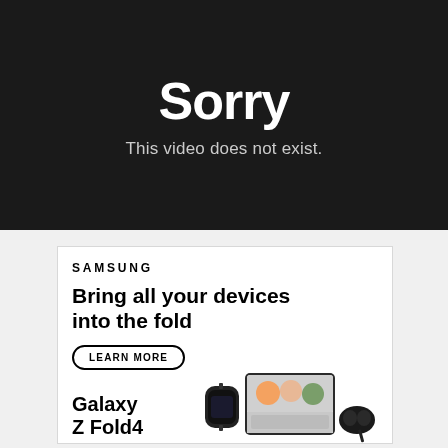Sorry
This video does not exist.
[Figure (screenshot): Samsung advertisement banner for Galaxy Z Fold4 showing devices, a 'LEARN MORE' button, and slogan 'Bring all your devices into the fold']